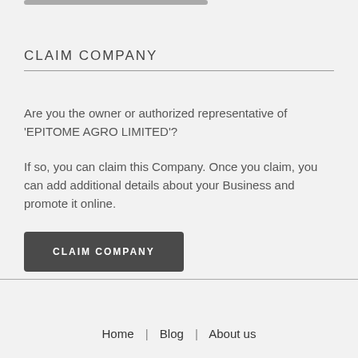CLAIM COMPANY
Are you the owner or authorized representative of 'EPITOME AGRO LIMITED'?
If so, you can claim this Company. Once you claim, you can add additional details about your Business and promote it online.
CLAIM COMPANY
Home | Blog | About us